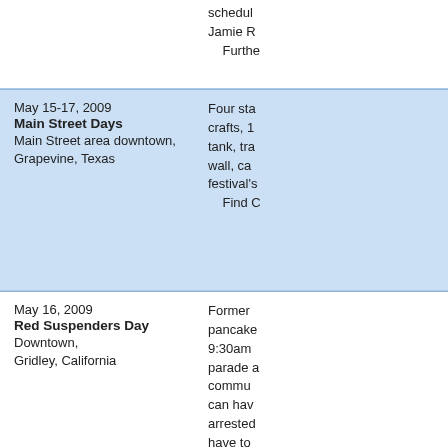schedul Jamie R Furthe
May 15-17, 2009 | Main Street Days | Main Street area downtown, Grapevine, Texas
Four sta crafts, 1 tank, tra wall, ca festival's Find C
May 16, 2009 | Red Suspenders Day | Downtown, Gridley, California
Former pancake 9:30am parade a commu can hav arrested have to into frien Ques
May 16, 2009 | Watermelon Festival | Canterbury Equestrian Showplace at 23100 W. Newberry Rd., Newberry, Florida
Plans fo waterme grower  more. T festival. Find C
May 16, 2009
Lawn m